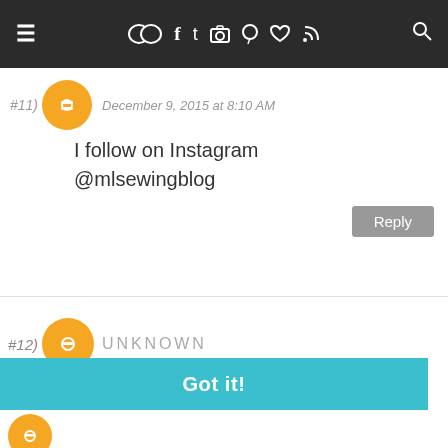≡  social icons  🔍
December 9, 2015 at 8:10 AM
I follow on Instagram @mlsewingblog
Reply
#12) UNKNOWN
This website uses cookies to ensure you get the best experience on our website. Learn more
Got it!